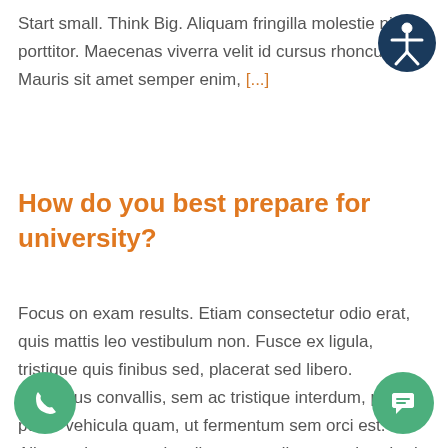Start small. Think Big. Aliquam fringilla molestie nisi ut porttitor. Maecenas viverra velit id cursus rhoncus. Mauris sit amet semper enim, [...]
[Figure (illustration): Accessibility icon — white person figure with arms and legs outstretched in a circle, dark navy blue circular background]
How do you best prepare for university?
Focus on exam results. Etiam consectetur odio erat, quis mattis leo vestibulum non. Fusce ex ligula, tristique quis finibus sed, placerat sed libero. Phasellus convallis, sem ac tristique interdum, purus purus vehicula quam, ut fermentum sem orci est. Aliquam leo purus, iaculis non condimentum hendrerit, vestibulum quis tortor. Vestibulum quis
[Figure (illustration): Green circular phone call button with white phone handset icon]
[Figure (illustration): Green circular chat button with white speech bubble / chat icon]